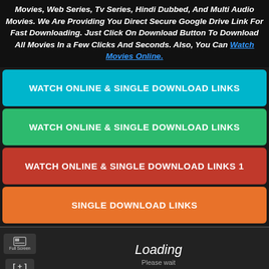Movies, Web Series, Tv Series, Hindi Dubbed, And Multi Audio Movies. We Are Providing You Direct Secure Google Drive Link For Fast Downloading. Just Click On Download Button To Download All Movies In a Few Clicks And Seconds. Also, You Can Watch Movies Online.
WATCH ONLINE & SINGLE DOWNLOAD LINKS
WATCH ONLINE & SINGLE DOWNLOAD LINKS
WATCH ONLINE & SINGLE DOWNLOAD LINKS 1
SINGLE DOWNLOAD LINKS
[Figure (screenshot): Video player area showing Full Screen button, a plus/minus control, and a Loading / Please wait message on dark background]